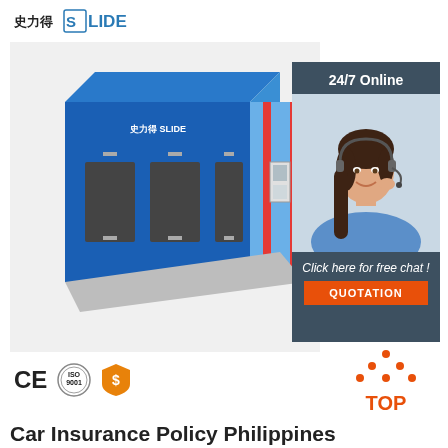[Figure (logo): SLIDE brand logo with Chinese characters 史力得 and stylized S icon]
[Figure (photo): Large blue industrial paint spray booth / car spray booth product photo, with 24/7 online customer service chat overlay showing a woman with headset, orange QUOTATION button]
[Figure (logo): CE certification mark, ISO 9001 certification circle, orange shield dollar badge, and orange TOP triangle badge on right]
Car Insurance Policy Philippines